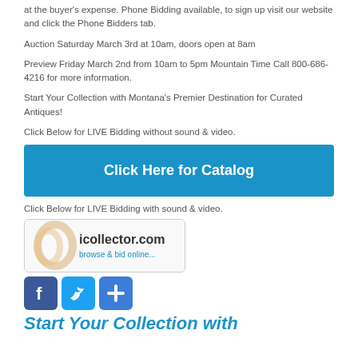at the buyer's expense. Phone Bidding available, to sign up visit our website and click the Phone Bidders tab.
Auction Saturday March 3rd at 10am, doors open at 8am
Preview Friday March 2nd from 10am to 5pm Mountain Time Call 800-686-4216 for more information.
Start Your Collection with Montana's Premier Destination for Curated Antiques!
Click Below for LIVE Bidding without sound & video.
[Figure (other): Blue button labeled 'Click Here for Catalog']
Click Below for LIVE Bidding with sound & video.
[Figure (logo): icollector.com logo - browse & bid online]
[Figure (other): Social media icons: Facebook, Twitter, Share]
Start Your Collection with